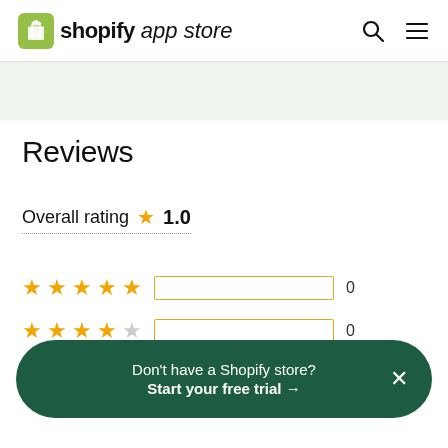shopify app store
Reviews
Overall rating ★ 1.0
★★★★★ 0
★★★★☆ 0
Don't have a Shopify store? Start your free trial →